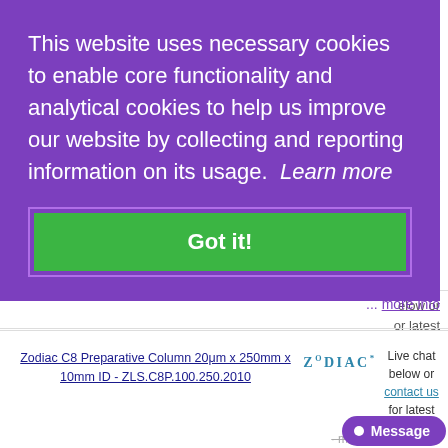[Figure (screenshot): Cookie consent overlay on a website. Purple background with white text reading 'This website uses necessary cookies to enable core functionality and analytical cookies to help us improve our website by collecting and reporting information on its usage. Learn more'. A green 'Got it!' button is shown below the text. Behind the overlay, partial page content is visible including 'more info' links in purple and a product listing for 'Zodiac C8 Preparative Column 20μm x 250mm x 10mm ID - ZLS.C8P.100.250.2010' with a Zodiac logo and a 'Message' button.]